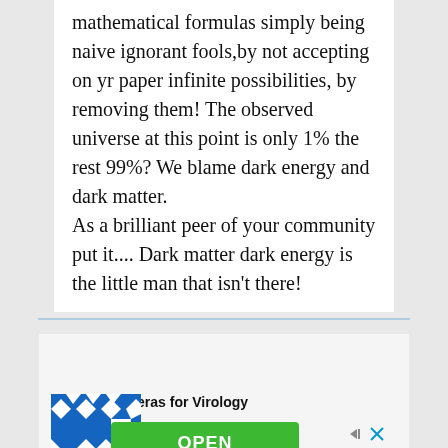mathematical formulas simply being naive ignorant fools,by not accepting on yr paper infinite possibilities, by removing them! The observed universe at this point is only 1% the rest 99%? We blame dark energy and dark matter.
As a brilliant peer of your community put it.... Dark matter dark energy is the little man that isn't there!
[Figure (infographic): Advertisement banner with blue/white geometric pattern logo on the left, a green OPEN button in the center, navigation arrow and X controls on the right. Below the logo and button is bold text: sCMOS Cameras for Virology. An 'Ad' label appears at the bottom right.]